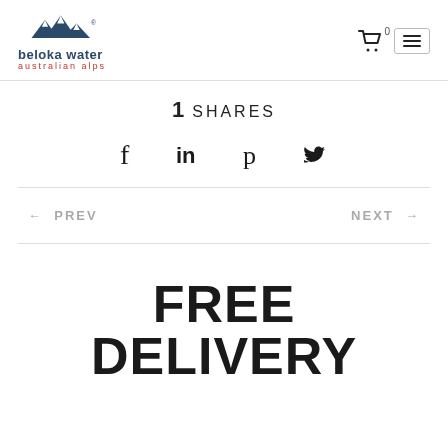beloka water australian alps
1 SHARES
[Figure (other): Social share icons: Facebook (f), LinkedIn (in), Pinterest (p), Twitter (bird icon)]
← PREV
NEXT →
FREE DELIVERY